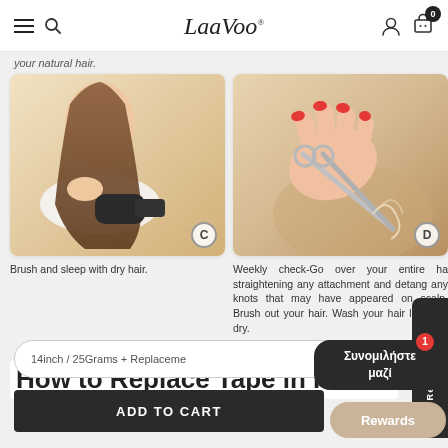LaaVoo (logo) — hamburger, search, user, cart (0)
your natural hair.
[Figure (photo): Woman brushing long hair with a round brush, label C at bottom right]
[Figure (photo): Hands with red nails holding scissors cutting hair extensions, label D at bottom right]
Brush and sleep with dry hair.
Weekly check-Go over your entire he straightening any attachment and detang any knots that may have appeared on scalp. Brush out your hair. Wash your hair let them dry.
How to Replace Tape in Hai
14inch / 25Grams + Replaceme
ADD TO CART
Reviews
Συνομιλήστε μαζί
Rewards